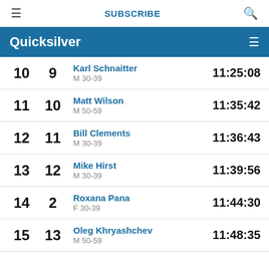SUBSCRIBE
Quicksilver
| Overall Rank | Cat Rank | Name / Category | Time |
| --- | --- | --- | --- |
| 10 | 9 | Karl Schnaitter
M 30-39 | 11:25:08 |
| 11 | 10 | Matt Wilson
M 50-59 | 11:35:42 |
| 12 | 11 | Bill Clements
M 30-39 | 11:36:43 |
| 13 | 12 | Mike Hirst
M 30-39 | 11:39:56 |
| 14 | 2 | Roxana Pana
F 30-39 | 11:44:30 |
| 15 | 13 | Oleg Khryashchev
M 50-59 | 11:48:35 |